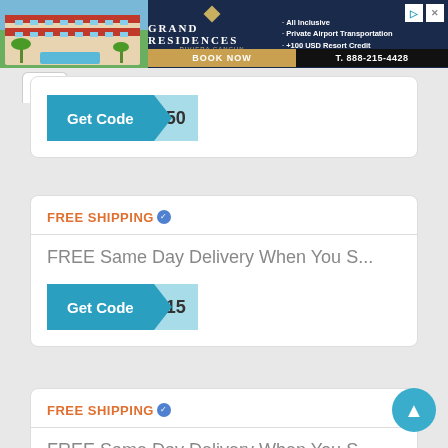[Figure (screenshot): Grand Residences Riviera Cancun advertisement banner with hotel photo, logo, amenity bullets (All Inclusive, Private Airport Transportation, +100 USD Resort Credit), BOOK NOW button, and phone number T. 888-215-4428]
Get Code 50
FREE SHIPPING
FREE Same Day Delivery When You S...
Get Code 15
FREE SHIPPING
FREE Same Day Delivery When You S...